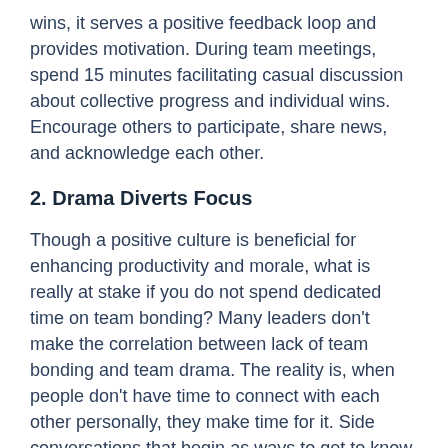wins, it serves a positive feedback loop and provides motivation. During team meetings, spend 15 minutes facilitating casual discussion about collective progress and individual wins. Encourage others to participate, share news, and acknowledge each other.
2. Drama Diverts Focus
Though a positive culture is beneficial for enhancing productivity and morale, what is really at stake if you do not spend dedicated time on team bonding? Many leaders don't make the correlation between lack of team bonding and team drama. The reality is, when people don't have time to connect with each other personally, they make time for it. Side conversations that begin as ways to get to know each other quickly become opportunities for venting and spreading drama. Gossip and drama are destructive distractions that cultivate a negative team culture and can even lead to attrition. When the leader takes charge and facilitates positive ways of engaging in discussion, team